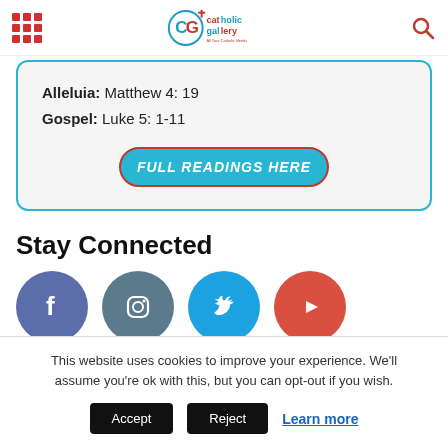Catholic Gallery - All Your Catholic Needs
Alleluia: Matthew 4: 19
Gospel: Luke 5: 1-11
FULL READINGS HERE
Stay Connected
[Figure (infographic): Four social media icons in circles: Facebook (blue-grey), Instagram (slate), Twitter (cyan), YouTube (red)]
This website uses cookies to improve your experience. We'll assume you're ok with this, but you can opt-out if you wish.
Accept  Reject  Learn more